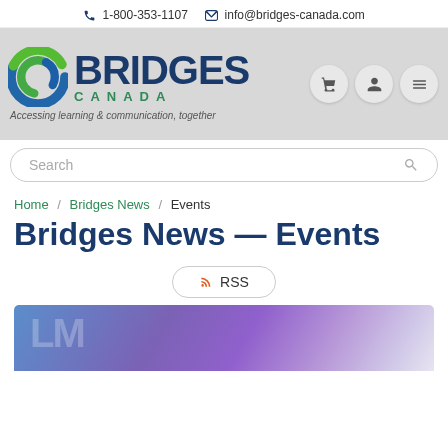1-800-353-1107  info@bridges-canada.com
[Figure (logo): Bridges Canada logo with circular chain-link icon in blue and green, text BRIDGES in dark blue and CANADA in green spaced letters, tagline: Accessing learning & communication, together]
Search
Home / Bridges News / Events
Bridges News — Events
RSS
[Figure (photo): Partially visible blurred image with blue and purple tones, appears to show letters or a logo]